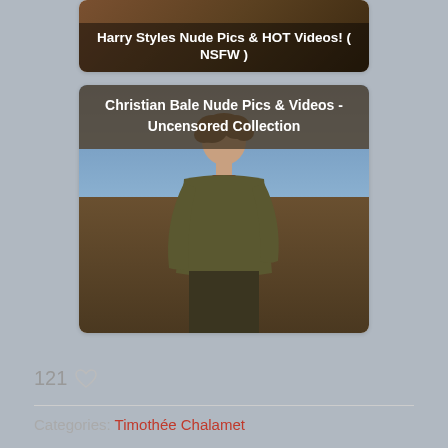[Figure (screenshot): Thumbnail card showing Harry Styles content with overlay text]
[Figure (photo): Photo of a man in a dark olive sweater outdoors with blue sky background, with overlay caption text]
121 ♡
Categories: Timothée Chalamet